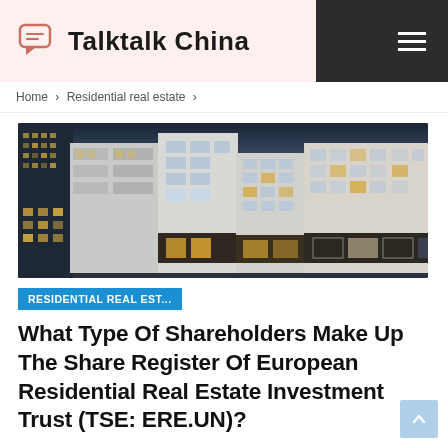Talktalk China
Home > Residential real estate >
[Figure (photo): Photograph of modern European residential apartment buildings at dusk/night, with illuminated windows and street lamps]
RESIDENTIAL REAL EST...
What Type Of Shareholders Make Up The Share Register Of European Residential Real Estate Investment Trust (TSE: ERE.UN)?